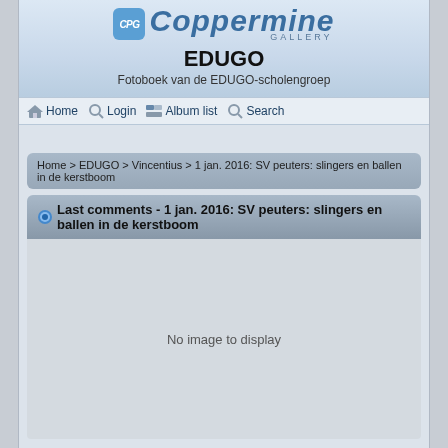[Figure (logo): Coppermine Gallery logo with CPG icon and stylized text]
EDUGO
Fotoboek van de EDUGO-scholengroep
Home  Login  Album list  Search
Home > EDUGO > Vincentius > 1 jan. 2016: SV peuters: slingers en ballen in de kerstboom
Last comments - 1 jan. 2016: SV peuters: slingers en ballen in de kerstboom
No image to display